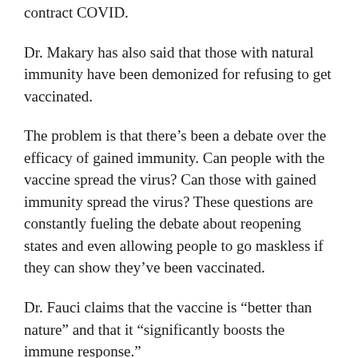contract COVID.
Dr. Makary has also said that those with natural immunity have been demonized for refusing to get vaccinated.
The problem is that there’s been a debate over the efficacy of gained immunity. Can people with the vaccine spread the virus? Can those with gained immunity spread the virus? These questions are constantly fueling the debate about reopening states and even allowing people to go maskless if they can show they’ve been vaccinated.
Dr. Fauci claims that the vaccine is “better than nature” and that it “significantly boosts the immune response.”